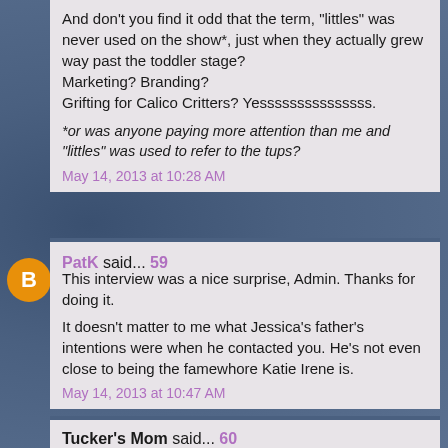And don't you find it odd that the term, "littles" was never used on the show*, just when they actually grew way past the toddler stage?
Marketing? Branding?
Grifting for Calico Critters? Yesssssssssssssss.
*or was anyone paying more attention than me and "littles" was used to refer to the tups?
May 14, 2013 at 10:28 AM
PatK said... 59
This interview was a nice surprise, Admin. Thanks for doing it.
It doesn't matter to me what Jessica's father's intentions were when he contacted you. He's not even close to being the famewhore Katie Irene is.
May 14, 2013 at 10:47 AM
Tucker's Mom said... 60
Formerly Duped said... 53